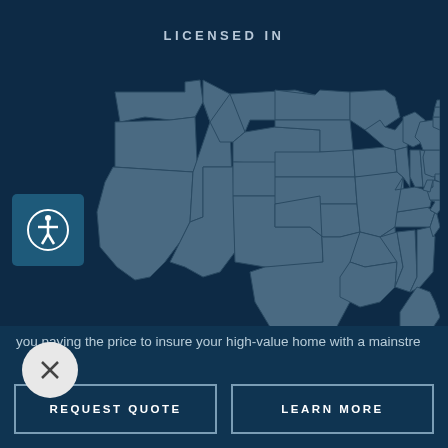LICENSED IN
[Figure (map): Gray silhouette map of the continental United States on a dark navy background, showing state boundaries]
you paying the price to insure your high-value home with a mainstre
REQUEST QUOTE
LEARN MORE